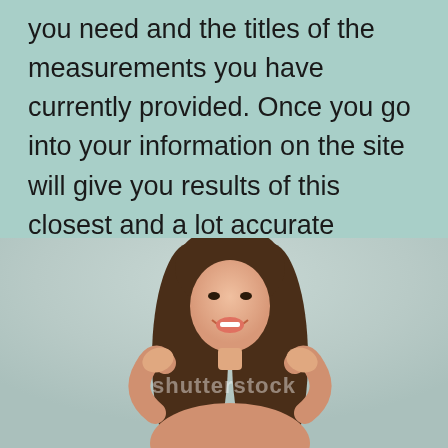you need and the titles of the measurements you have currently provided. Once you go into your information on the site will give you results of this closest and a lot accurate match. You can then decide whether or not you intend to proceed while using process.
[Figure (photo): A young woman with long brown hair looking upward with an excited, happy expression, hands raised with palms up in a surprised gesture. A Shutterstock watermark is visible across the center of the image. The background is a light teal/grey studio backdrop.]